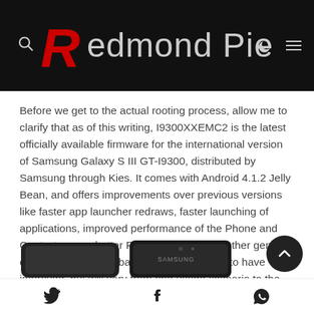Redmond Pie
Before we get to the actual rooting process, allow me to clarify that as of this writing, I9300XXEMC2 is the latest officially available firmware for the international version of Samsung Galaxy S III GT-I9300, distributed by Samsung through Kies. It comes with Android 4.1.2 Jelly Bean, and offers improvements over previous versions like faster app launcher redraws, faster launching of applications, improved performance of the Phone and Contacts apps, better RAM utilization, and other general enhancements. The battery life also seems to have improved, but will vary from one usage scenario to the other.
[Figure (photo): Partial photo of Samsung Galaxy S III smartphones at the bottom of the page]
Social share icons: Twitter, Facebook, WhatsApp